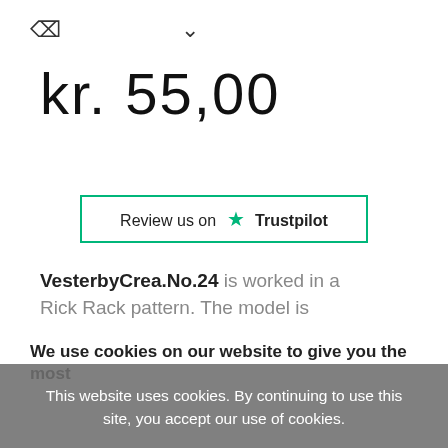[Figure (screenshot): Share icon (< shape) and dropdown chevron (v) in top navigation bar]
kr. 55,00
[Figure (logo): Trustpilot review button with green star: 'Review us on ★ Trustpilot']
VesterbyCrea.No.24 is worked in a Rick Rack pattern. The model is
We use cookies on our website to give you the most
This website uses cookies. By continuing to use this site, you accept our use of cookies.
Accept